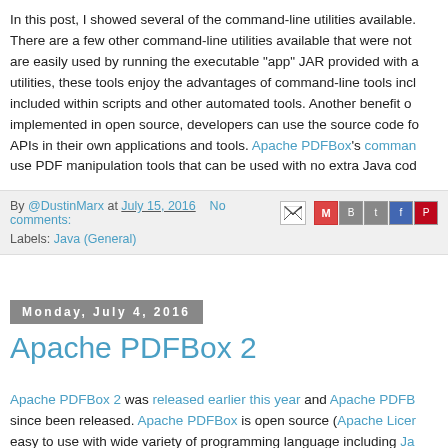In this post, I showed several of the command-line utilities available. There are a few other command-line utilities available that were not are easily used by running the executable "app" JAR provided with a utilities, these tools enjoy the advantages of command-line tools incl included within scripts and other automated tools. Another benefit o implemented in open source, developers can use the source code fo APIs in their own applications and tools. Apache PDFBox's comman use PDF manipulation tools that can be used with no extra Java cod
By @DustinMarx at July 15, 2016   No comments:
Labels: Java (General)
Monday, July 4, 2016
Apache PDFBox 2
Apache PDFBox 2 was released earlier this year and Apache PDFB since been released. Apache PDFBox is open source (Apache Licer easy to use with wide variety of programming language including Ja Ceylon). Apache PDFBox can be used by any of these or other JVM with PDF documents.